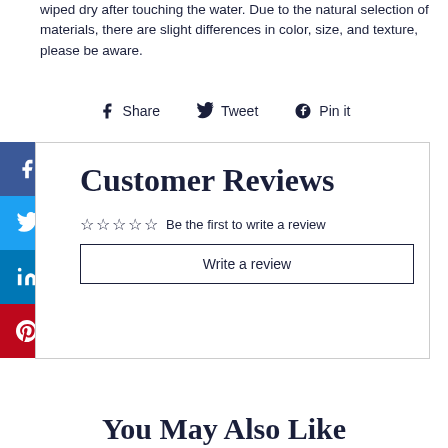wiped dry after touching the water. Due to the natural selection of materials, there are slight differences in color, size, and texture, please be aware.
Share  Tweet  Pin it
[Figure (infographic): Social media sharing sidebar with Facebook, Twitter, LinkedIn, and Pinterest icons]
Customer Reviews
☆ ☆ ☆ ☆ ☆  Be the first to write a review
Write a review
You May Also Like